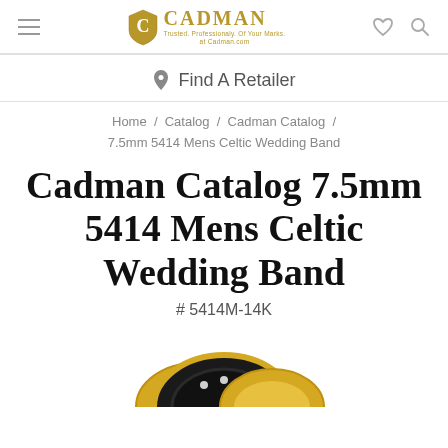Cadman — Find A Retailer
Home / Catalog / Cadman Catalog / 7.5mm 5414 Mens Celtic Wedding Band
Cadman Catalog 7.5mm 5414 Mens Celtic Wedding Band
# 5414M-14K
[Figure (photo): Gold and black Celtic wedding band ring with trinity knot pattern, shown at bottom of page]